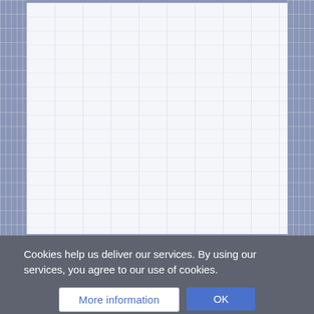[Figure (screenshot): A mostly blank webpage background with a blue-grey plaid/grid border on left and right sides, and a light grey-blue grid content area in the center.]
Cookies help us deliver our services. By using our services, you agree to our use of cookies.
More information
OK